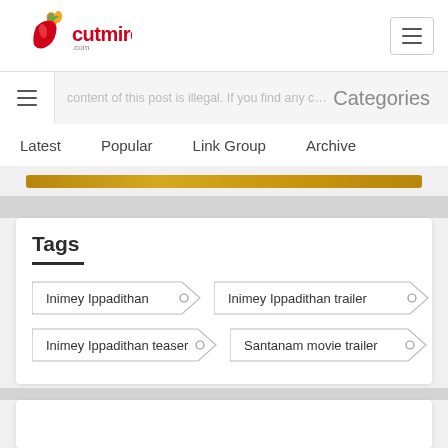[Figure (logo): Cutmirchi logo with red chili pepper and flame icon]
Categories
content of this post is illegal. If you find any c...
Latest   Popular   Link Group   Archive
Tags
Inimey Ippadithan
Inimey Ippadithan trailer
Inimey Ippadithan teaser
Santanam movie trailer